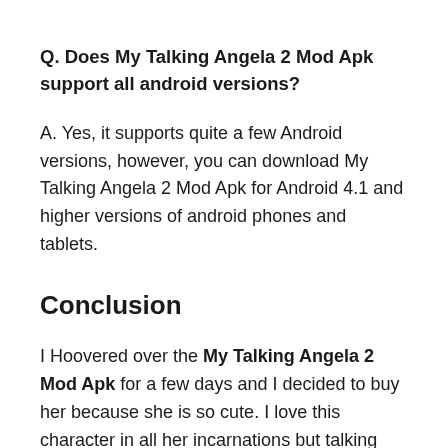Q. Does My Talking Angela 2 Mod Apk support all android versions?
A. Yes, it supports quite a few Android versions, however, you can download My Talking Angela 2 Mod Apk for Android 4.1 and higher versions of android phones and tablets.
Conclusion
I Hoovered over the My Talking Angela 2 Mod Apk for a few days and I decided to buy her because she is so cute. I love this character in all her incarnations but talking